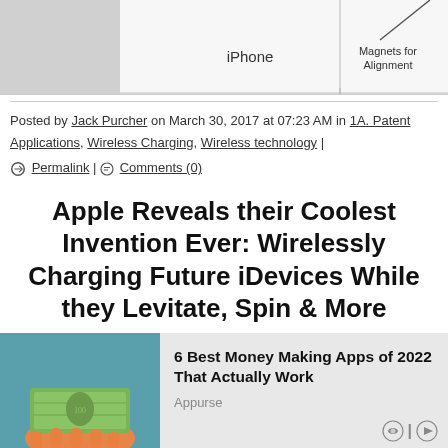[Figure (schematic): Diagram showing iPhone with Magnets for Alignment, partial view of a wireless charging schematic]
Posted by Jack Purcher on March 30, 2017 at 07:23 AM in 1A. Patent Applications, Wireless Charging, Wireless technology | Permalink | Comments (0)
Apple Reveals their Coolest Invention Ever: Wirelessly Charging Future iDevices While they Levitate, Spin & More
[Figure (other): Advertisement: 6 Best Money Making Apps of 2022 That Actually Work — Appurse]